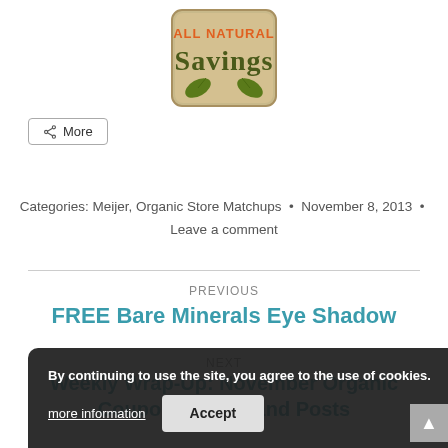[Figure (logo): All Natural Savings logo — beige/tan rounded rectangle with green leaf motif, orange text 'ALL NATURAL' and dark olive text 'Savings']
< More
Categories: Meijer, Organic Store Matchups  •  November 8, 2013  •  Leave a comment
PREVIOUS
FREE Bare Minerals Eye Shadow
NEXT
Weekly Wrap-Up: November Organic Coupons, Deals and Posts
By continuing to use the site, you agree to the use of cookies. more information  Accept